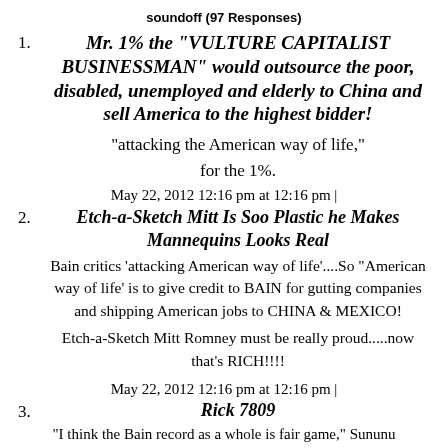soundoff (97 Responses)
Mr. 1% the "VULTURE CAPITALIST BUSINESSMAN" would outsource the poor, disabled, unemployed and elderly to China and sell America to the highest bidder!
"attacking the American way of life,"
for the 1%.
May 22, 2012 12:16 pm at 12:16 pm |
Etch-a-Sketch Mitt Is Soo Plastic he Makes Mannequins Looks Real
Bain critics 'attacking American way of life'....So "American way of life' is to give credit to BAIN for gutting companies and shipping American jobs to CHINA & MEXICO!
Etch-a-Sketch Mitt Romney must be really proud.....now that's RICH!!!!
May 22, 2012 12:16 pm at 12:16 pm |
Rick 7809
"I think the Bain record as a whole is fair game," Sununu